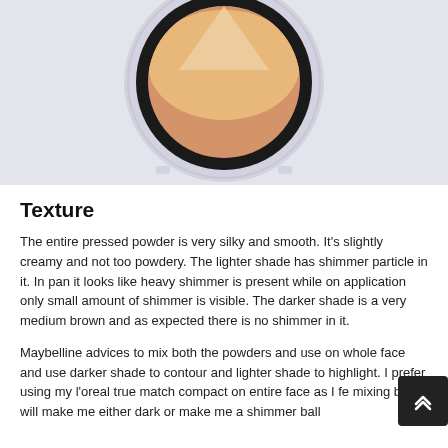[Figure (photo): Top-down view of a round pressed powder compact with a clear plastic outer ring, black inner ring, and a two-toned beige/brown powder pan showing a triangular lighter highlight pattern on a light grey-white background.]
Texture
The entire pressed powder is very silky and smooth. It's slightly creamy and not too powdery. The lighter shade has shimmer particle in it. In pan it looks like heavy shimmer is present while on application only small amount of shimmer is visible. The darker shade is a very medium brown and as expected there is no shimmer in it.
Maybelline advices to mix both the powders and use on whole face and use darker shade to contour and lighter shade to highlight. I prefer using my l'oreal true match compact on entire face as I fe mixing both will make me either dark or make me a shimmer ball